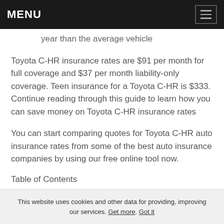MENU
year than the average vehicle
Toyota C-HR insurance rates are $91 per month for full coverage and $37 per month liability-only coverage. Teen insurance for a Toyota C-HR is $333. Continue reading through this guide to learn how you can save money on Toyota C-HR insurance rates
You can start comparing quotes for Toyota C-HR auto insurance rates from some of the best auto insurance companies by using our free online tool now.
Table of Contents
Toyota C-HR Insurance Cost
This website uses cookies and other data for providing, improving our services. Get more. Got it